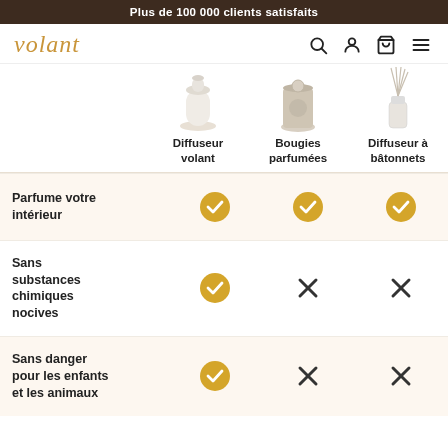Plus de 100 000 clients satisfaits
[Figure (screenshot): Volant brand navigation bar with logo and icons for search, account, cart, and menu]
[Figure (infographic): Comparison table showing Diffuseur volant, Bougies parfumées, and Diffuseur à bâtonnets products with icons]
|  | Diffuseur volant | Bougies parfumées | Diffuseur à bâtonnets |
| --- | --- | --- | --- |
| Parfume votre intérieur | ✓ | ✓ | ✓ |
| Sans substances chimiques nocives | ✓ | ✗ | ✗ |
| Sans danger pour les enfants et les animaux | ✓ | ✗ | ✗ |